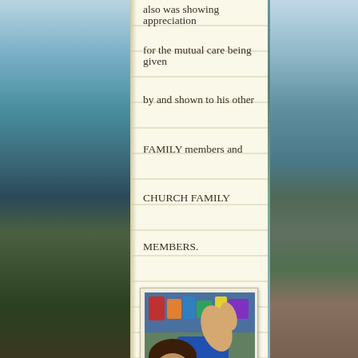also was showing appreciation
for the mutual care being given
by and shown to his other
FAMILY members and
CHURCH FAMILY
MEMBERS.
[Figure (photo): Child in blue sleeve giving thumbs up in a classroom setting. Below the photo is a caption reading: By: U.S. Department of Agriculture]
By: U.S. Department of Agriculture
It was wonderful to see that
God’s SIMPLE, POWERFUL,
GOSPEL message could be
confessed and shared when it